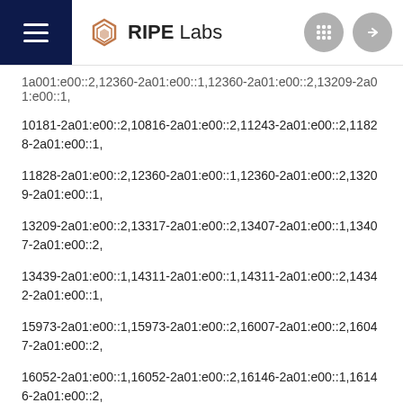RIPE Labs
10181-2a01:e00::2,10816-2a01:e00::2,11243-2a01:e00::2,11828-2a01:e00::1,
11828-2a01:e00::2,12360-2a01:e00::1,12360-2a01:e00::2,13209-2a01:e00::1,
13209-2a01:e00::2,13317-2a01:e00::2,13407-2a01:e00::1,13407-2a01:e00::2,
13439-2a01:e00::1,14311-2a01:e00::1,14311-2a01:e00::2,14342-2a01:e00::1,
15973-2a01:e00::1,15973-2a01:e00::2,16007-2a01:e00::2,16047-2a01:e00::2,
16052-2a01:e00::1,16052-2a01:e00::2,16146-2a01:e00::1,16146-2a01:e00::2,